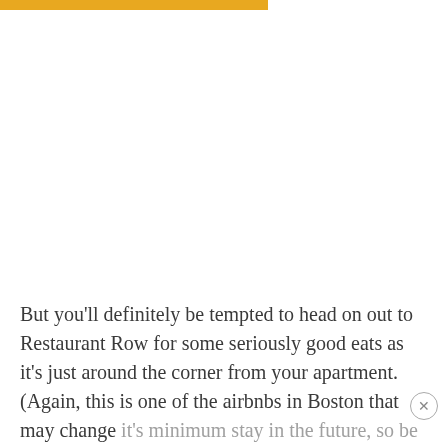[Figure (other): Gold/amber horizontal bar at the top of the page]
But you'll definitely be tempted to head on out to Restaurant Row for some seriously good eats as it's just around the corner from your apartment. (Again, this is one of the airbnbs in Boston that may change it's minimum stay in the future, so be sure to check it case our editors forget to update the article.)